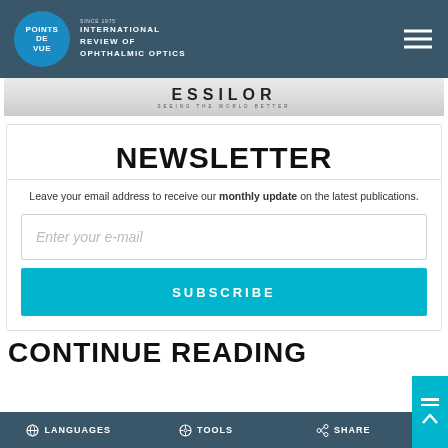POINTS DE VUE — INTERNATIONAL REVIEW OF OPHTHALMIC OPTICS
[Figure (logo): Essilor logo with tagline SEEING THE WORLD BETTER]
NEWSLETTER
Leave your email address to receive our monthly update on the latest publications.
Enter your e-mail
SUBSCRIBE
CONTINUE READING
LANGUAGES  TOOLS  SHARE